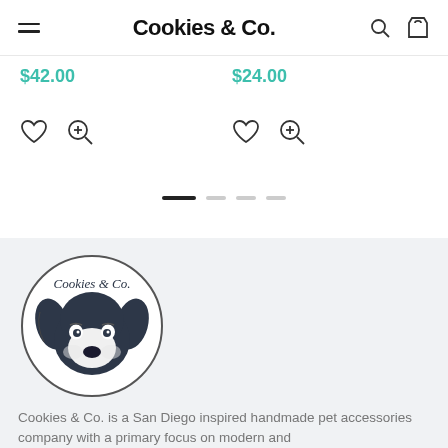Cookies & Co.
$42.00
$24.00
[Figure (illustration): Cookies & Co. circular logo featuring a stylized dog face illustration with the brand name above it]
Cookies & Co. is a San Diego inspired handmade pet accessories company with a primary focus on modern and